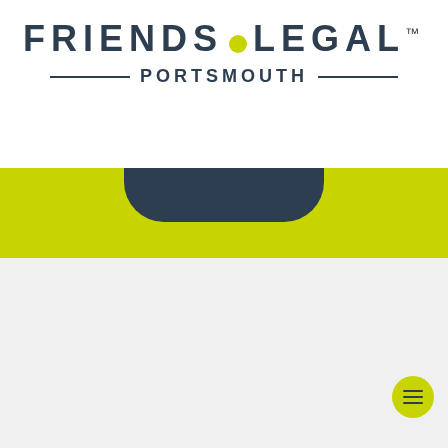FRIENDS LEGAL™ PORTSMOUTH
[Figure (logo): Friends Legal Portsmouth logo with yellow-green dot between FRIENDS and LEGAL text, PORTSMOUTH subtitle with decorative lines]
[Figure (illustration): Yellow-green banner with dark rounded tab element at top]
[Figure (logo): Secondary Friends Legal Portsmouth logo (partially visible)]
No Win, No Fee Accident Comp...
[Figure (infographic): Google local reviews card showing 5 stars, phone number 02394 272388, and Start Your Claim button]
Contact Personal Injury Solicitors Portsmouth
Address: 79 Earles Meadow, Horsham, West Sussex, England, RH12 4HR